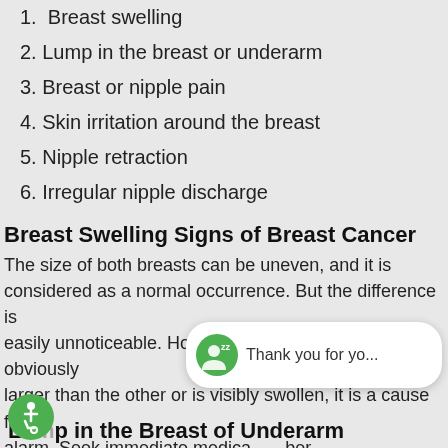1.  Breast swelling
2. Lump in the breast or underarm
3. Breast or nipple pain
4. Skin irritation around the breast
5. Nipple retraction
6. Irregular nipple discharge
Breast Swelling Signs of Breast Cancer
The size of both breasts can be uneven, and it is considered as a normal occurrence. But the difference is easily unnoticeable. However, if the one breast is obviously larger than the other or is visibly swollen, it is a cause for alarm. Seek immediate medical attention to determine whether the cause of the condition is cancer or something else.
Lump in the Breast of Underarm